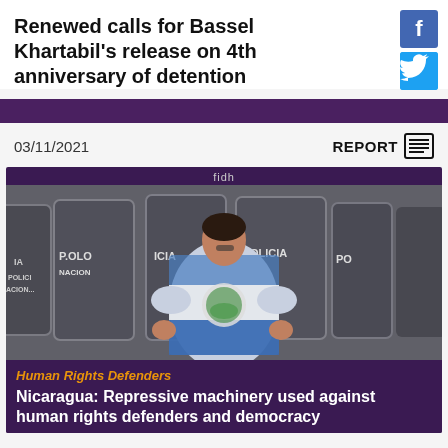Renewed calls for Bassel Khartabil's release on 4th anniversary of detention
03/11/2021
REPORT
[Figure (photo): Person wrapped in a Nicaraguan flag standing in front of riot police shields labeled 'POLICIA NACIONAL']
Human Rights Defenders
Nicaragua: Repressive machinery used against human rights defenders and democracy